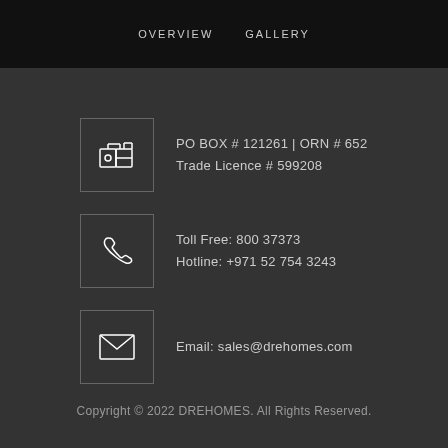OVERVIEW   GALLERY
PO BOX # 121261 | ORN # 652 Trade Licence # 599208
Toll Free: 800 37373
Hotline: +971 52 754 3243
Email: sales@drehomes.com
Copyright © 2022 DREHOMES. All Rights Reserved.